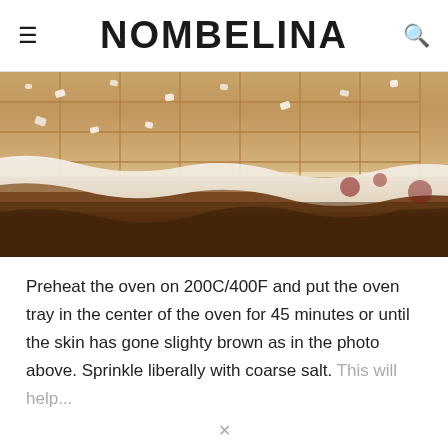NOMBELINA
[Figure (photo): Close-up photo of a meat dish with pastry/cracker topping sprinkled with coarse salt crystals, with white creamy sauce or melted fat visible along the edge. The meat appears browned and is on an oven tray.]
Preheat the oven on 200C/400F and put the oven tray in the center of the oven for 45 minutes or until the skin has gone slighty brown as in the photo above. Sprinkle liberally with coarse salt. This will help...